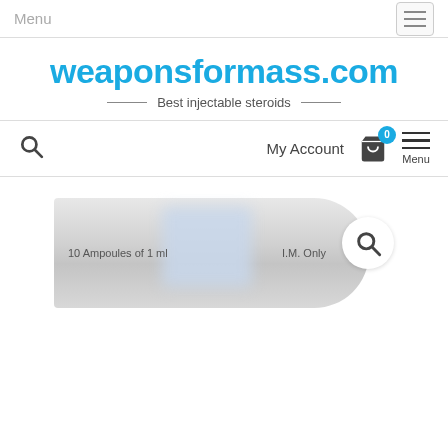Menu
weaponsformass.com
Best injectable steroids
My Account
[Figure (screenshot): Product box image showing '10 Ampoules of 1 ml' on left and 'I.M. Only' on right with a blurred center section, with a search icon overlay in the bottom right.]